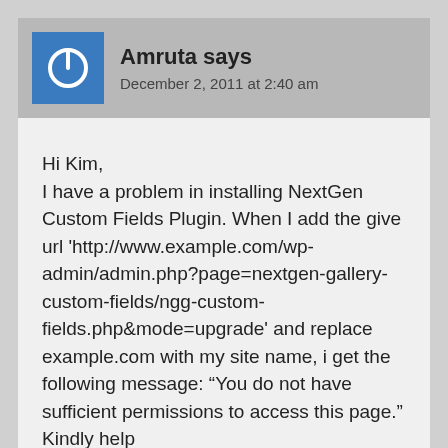Amruta says
December 2, 2011 at 2:40 am
Hi Kim,
I have a problem in installing NextGen Custom Fields Plugin. When I add the give url 'http://www.example.com/wp-admin/admin.php?page=nextgen-gallery-custom-fields/ngg-custom-fields.php&mode=upgrade' and replace example.com with my site name, i get the following message: “You do not have sufficient permissions to access this page.”
Kindly help